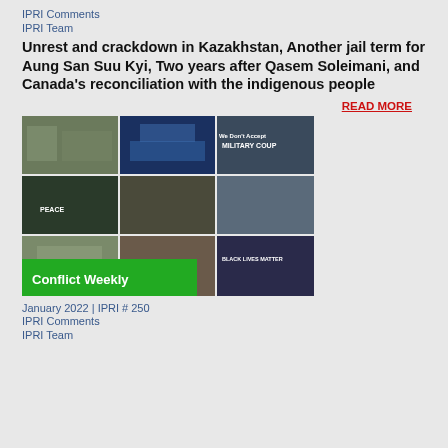IPRI Comments
IPRI Team
Unrest and crackdown in Kazakhstan, Another jail term for Aung San Suu Kyi, Two years after Qasem Soleimani, and Canada's reconciliation with the indigenous people
READ MORE
[Figure (photo): Mosaic of conflict-related news photos with 'Conflict Weekly' green banner overlay]
January 2022 | IPRI # 250
IPRI Comments
IPRI Team